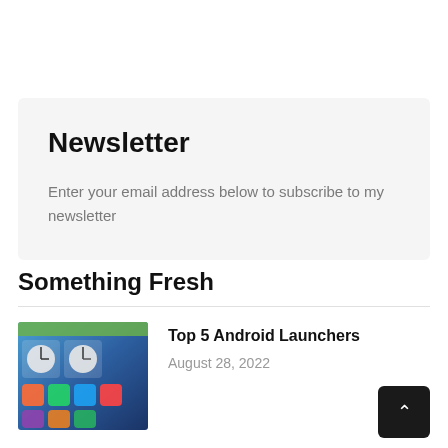Newsletter
Enter your email address below to subscribe to my newsletter
Something Fresh
[Figure (screenshot): Android home screen showing clock widgets and app icons on a colorful wallpaper]
Top 5 Android Launchers
August 28, 2022